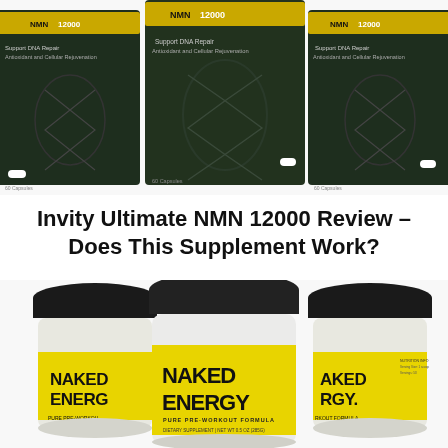[Figure (photo): Three dark green/black supplement boxes labeled with NMN 12000, Support DNA Repair, Antioxidant and Cellular Rejuvenation, 60 Capsules]
Invity Ultimate NMN 12000 Review – Does This Supplement Work?
[Figure (photo): Three clear supplement jars with yellow labels reading NAKED ENERGY, Pure Pre-Workout Formula, dietary supplement]